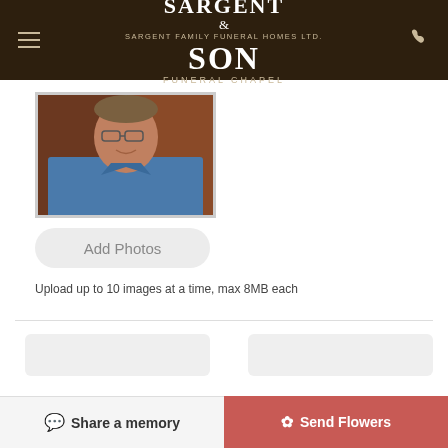SARGENT & SON FUNERAL CHAPEL — SARGENT FAMILY FUNERAL HOMES LTD.
[Figure (photo): Photo of an elderly man smiling, wearing glasses and a blue shirt, seated indoors]
Add Photos
Upload up to 10 images at a time, max 8MB each
Share a memory
Send Flowers